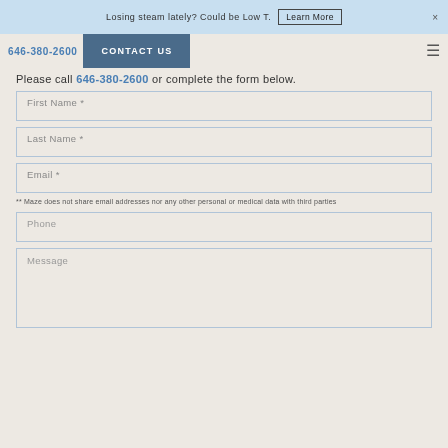Losing steam lately? Could be Low T. Learn More ×
646-380-2600  CONTACT US
Please call 646-380-2600 or complete the form below.
First Name *
Last Name *
Email *
** Maze does not share email addresses nor any other personal or medical data with third parties
Phone
Message